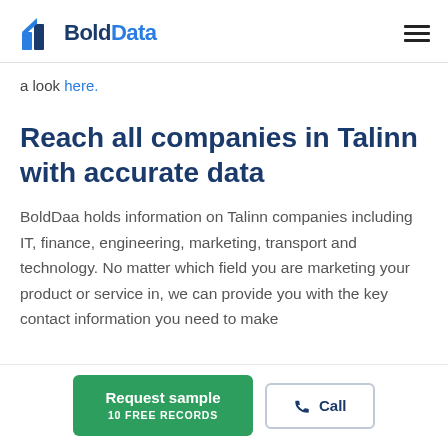BoldData
a look here.
Reach all companies in Talinn with accurate data
BoldDaa holds information on Talinn companies including IT, finance, engineering, marketing, transport and technology. No matter which field you are marketing your product or service in, we can provide you with the key contact information you need to make
Request sample 10 FREE RECORDS
Call